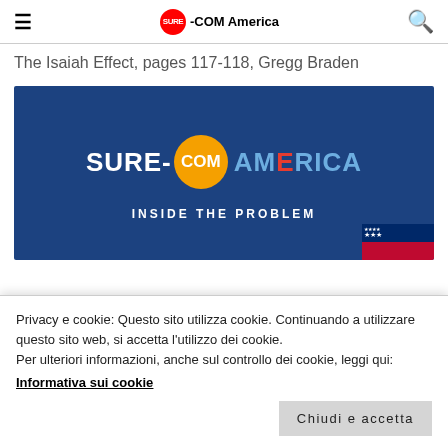SURE-COM America
The Isaiah Effect, pages 117-118, Gregg Braden
[Figure (logo): SURE-COM America branded image with orange circle logo and 'INSIDE THE PROBLEM' text on dark blue background with US flag element]
Privacy e cookie: Questo sito utilizza cookie. Continuando a utilizzare questo sito web, si accetta l'utilizzo dei cookie.
Per ulteriori informazioni, anche sul controllo dei cookie, leggi qui:
Informativa sui cookie
Chiudi e accetta